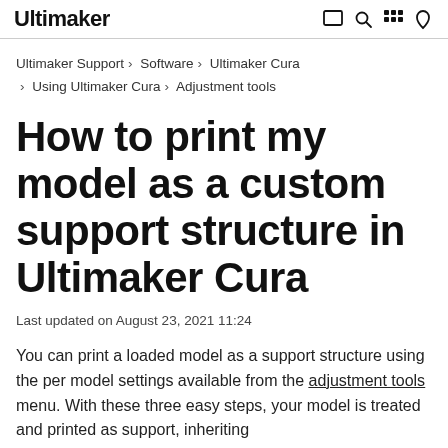Ultimaker
Ultimaker Support › Software › Ultimaker Cura › Using Ultimaker Cura › Adjustment tools
How to print my model as a custom support structure in Ultimaker Cura
Last updated on August 23, 2021 11:24
You can print a loaded model as a support structure using the per model settings available from the adjustment tools menu. With these three easy steps, your model is treated and printed as support, inheriting